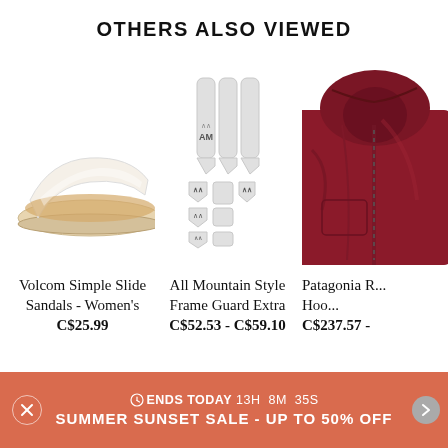OTHERS ALSO VIEWED
[Figure (photo): White slide sandal with tan/beige footbed - Volcom Simple Slide Sandals Women's]
Volcom Simple Slide Sandals - Women's
C$25.99
[Figure (photo): All Mountain Style bicycle frame guard kit - set of white/grey protective strips with AM logo]
All Mountain Style Frame Guard Extra
C$52.53 - C$59.10
[Figure (photo): Patagonia hooded jacket in dark red/maroon color - partially visible, cropped on right]
Patagonia R... Hoo...
C$237.57 -
⏱ENDS TODAY 13H  8M  35S
SUMMER SUNSET SALE – UP TO 50% OFF